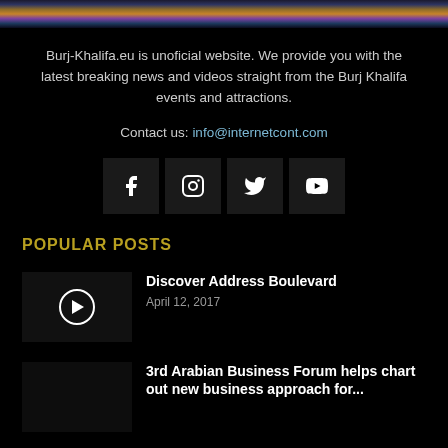[Figure (photo): Cityscape/skyline image at top of page]
Burj-Khalifa.eu is unoficial website. We provide you with the latest breaking news and videos straight from the Burj Khalifa events and attractions.
Contact us: info@internetcont.com
[Figure (other): Social media icons: Facebook, Instagram, Twitter, YouTube]
POPULAR POSTS
Discover Address Boulevard
April 12, 2017
3rd Arabian Business Forum helps chart out new business approach for...